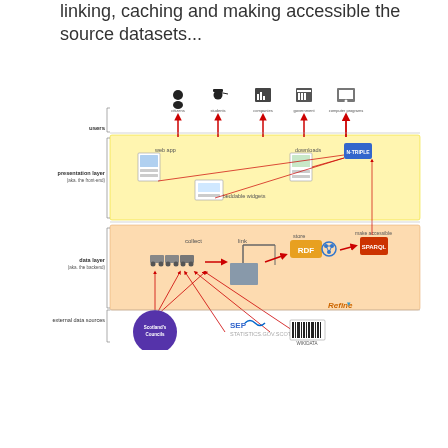linking, caching and making accessible the source datasets...
[Figure (infographic): Architecture diagram showing layers: external data sources (Scotland's Councils, SEPA, statistics.gov.scot, Wikidata), data layer (collect, link, store RDF, make accessible via SPARQL), presentation layer (web app, embeddable widgets, downloads, N-TRIPLE), and users (citizens, students, companies, government, computer programs). Red arrows show data flow between layers. Refine logo shown.]
| Note |  |
| --- | --- |
| Note | Our assumption is that, for our near-term aims, linked data provides the most useful foundation. |